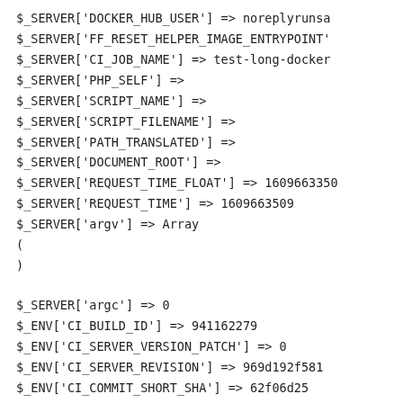$_SERVER['DOCKER_HUB_USER'] => noreplyrunsa
$_SERVER['FF_RESET_HELPER_IMAGE_ENTRYPOINT'
$_SERVER['CI_JOB_NAME'] => test-long-docker
$_SERVER['PHP_SELF'] =>
$_SERVER['SCRIPT_NAME'] =>
$_SERVER['SCRIPT_FILENAME'] =>
$_SERVER['PATH_TRANSLATED'] =>
$_SERVER['DOCUMENT_ROOT'] =>
$_SERVER['REQUEST_TIME_FLOAT'] => 1609663350
$_SERVER['REQUEST_TIME'] => 1609663509
$_SERVER['argv'] => Array
(
)

$_SERVER['argc'] => 0
$_ENV['CI_BUILD_ID'] => 941162279
$_ENV['CI_SERVER_VERSION_PATCH'] => 0
$_ENV['CI_SERVER_REVISION'] => 969d192f581
$_ENV['CI_COMMIT_SHORT_SHA'] => 62f06d25